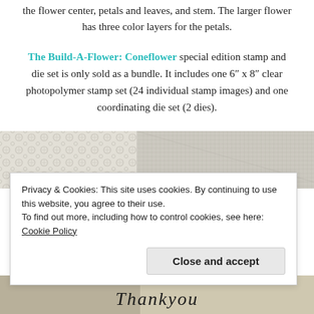the flower center, petals and leaves, and stem. The larger flower has three color layers for the petals.
The Build-A-Flower: Coneflower special edition stamp and die set is only sold as a bundle. It includes one 6″ x 8″ clear photopolymer stamp set (24 individual stamp images) and one coordinating die set (2 dies).
[Figure (photo): Photo strip showing white lace fabric on the left and light gray/white woven fabric on the right.]
Privacy & Cookies: This site uses cookies. By continuing to use this website, you agree to their use.
To find out more, including how to control cookies, see here: Cookie Policy
Close and accept
[Figure (photo): Bottom strip showing partial script text reading 'Thankyou' in cursive.]